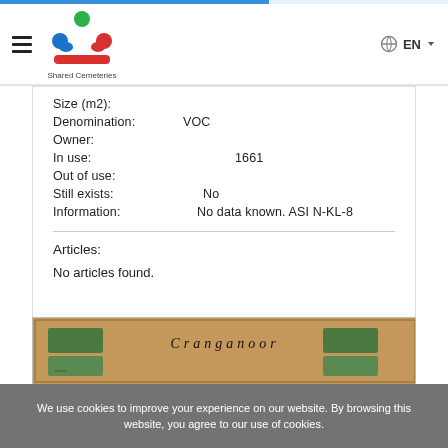Shared Cemeteries — EN
Size (m2):
Denomination: VOC
Owner:
In use: 1661
Out of use:
Still exists: No
Information: No data known. ASI N-KL-8
Articles:
No articles found.
[Figure (map): Partial view of a historical map showing 'Cranganoor' label]
We use cookies to improve your experience on our website. By browsing this website, you agree to our use of cookies.